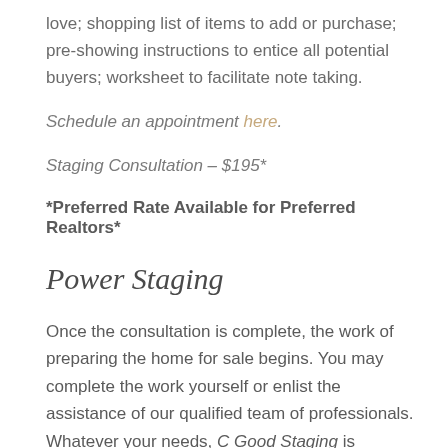love; shopping list of items to add or purchase; pre-showing instructions to entice all potential buyers; worksheet to facilitate note taking.
Schedule an appointment here.
Staging Consultation – $195*
*Preferred Rate Available for Preferred Realtors*
Power Staging
Once the consultation is complete, the work of preparing the home for sale begins. You may complete the work yourself or enlist the assistance of our qualified team of professionals. Whatever your needs, C Good Staging is